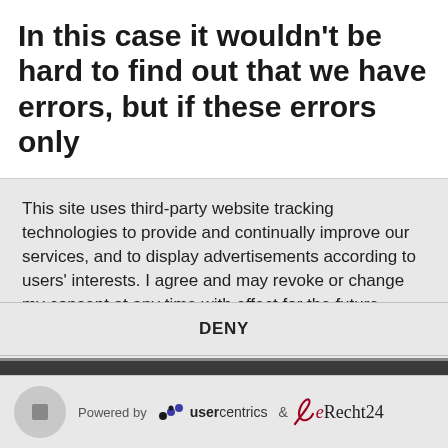In this case it wouldn't be hard to find out that we have errors, but if these errors only
This site uses third-party website tracking technologies to provide and continually improve our services, and to display advertisements according to users' interests. I agree and may revoke or change my consent at any time with effect for the future.
DENY
ACCEPT
MORE
Powered by usercentrics & eRecht24